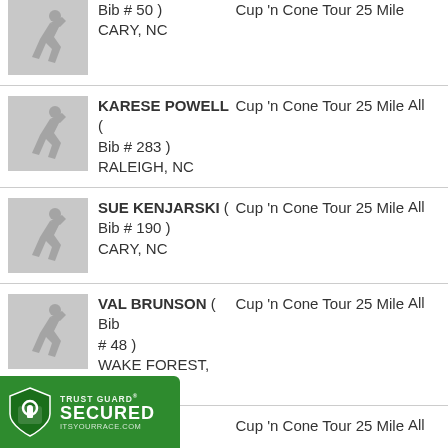Bib # 50, CARY, NC — Cup 'n Cone Tour 25 Mile — All
KARESE POWELL ( Bib # 283 ) RALEIGH, NC — Cup 'n Cone Tour 25 Mile — All
SUE KENJARSKI ( Bib # 190 ) CARY, NC — Cup 'n Cone Tour 25 Mile — All
VAL BRUNSON ( Bib # 48 ) WAKE FOREST, NC — Cup 'n Cone Tour 25 Mile — All
DANIELLE MCKAY ( Bib # 389 ) — Cup 'n Cone Tour 25 Mile — All
[Figure (logo): Trust Guard Secured badge — green shield with lock icon, text: TRUST GUARD SECURED ITSYOURRACE.COM]